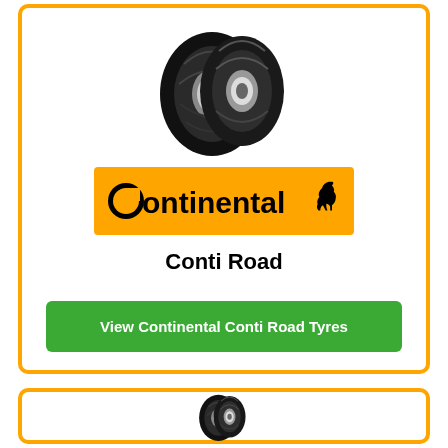[Figure (photo): Two motorcycle tyres (front and rear) shown in black and white, with chrome wheel detail visible]
[Figure (logo): Continental logo on orange/amber background with black text and horse icon]
Conti Road
View Continental Conti Road Tyres
[Figure (photo): Two motorcycle sport tyres shown in black and white from front angle]